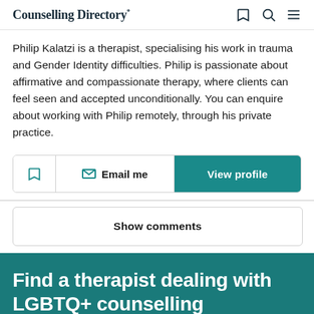Counselling Directory*
Philip Kalatzi is a therapist, specialising his work in trauma and Gender Identity difficulties. Philip is passionate about affirmative and compassionate therapy, where clients can feel seen and accepted unconditionally. You can enquire about working with Philip remotely, through his private practice.
Email me | View profile
Show comments
Find a therapist dealing with LGBTQ+ counselling